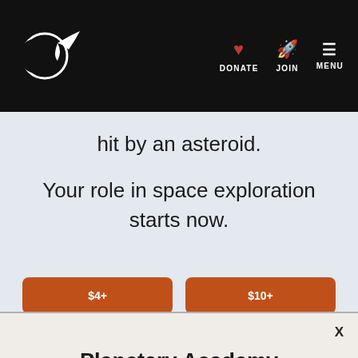DONATE | JOIN | MENU
hit by an asteroid.
Your role in space exploration starts now.
Planetary Academy Kickstarter
BACK OUR PROJECT